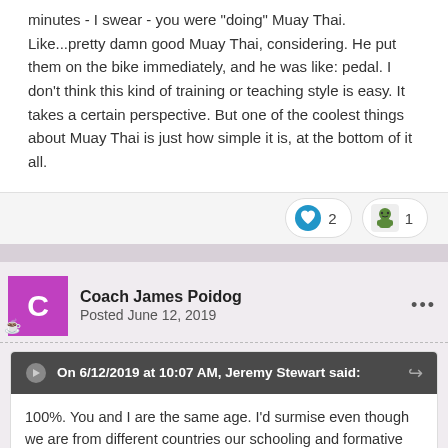minutes - I swear - you were "doing" Muay Thai. Like...pretty damn good Muay Thai, considering. He put them on the bike immediately, and he was like: pedal. I don't think this kind of training or teaching style is easy. It takes a certain perspective. But one of the coolest things about Muay Thai is just how simple it is, at the bottom of it all.
Coach James Poidog
Posted June 12, 2019
On 6/12/2019 at 10:07 AM, Jeremy Stewart said:
100%. You and I are the same age. I'd surmise even though we are from different countries our schooling and formative educational experience would be similar. I.E. everything by